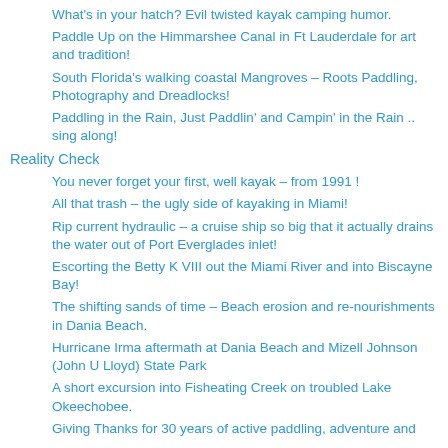What's in your hatch? Evil twisted kayak camping humor.
Paddle Up on the Himmarshee Canal in Ft Lauderdale for art and tradition!
South Florida's walking coastal Mangroves – Roots Paddling, Photography and Dreadlocks!
Paddling in the Rain, Just Paddlin' and Campin' in the Rain .. sing along!
Reality Check
You never forget your first, well kayak – from 1991 !
All that trash – the ugly side of kayaking in Miami!
Rip current hydraulic – a cruise ship so big that it actually drains the water out of Port Everglades inlet!
Escorting the Betty K VIII out the Miami River and into Biscayne Bay!
The shifting sands of time – Beach erosion and re-nourishments in Dania Beach.
Hurricane Irma aftermath at Dania Beach and Mizell Johnson (John U Lloyd) State Park
A short excursion into Fisheating Creek on troubled Lake Okeechobee.
Giving Thanks for 30 years of active paddling, adventure and